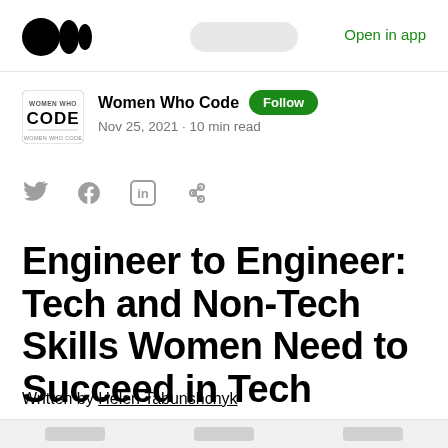Medium — Open in app
[Figure (logo): Women Who Code logo: circular badge with 'WOMEN WHO CODE' text]
Women Who Code · Follow · Nov 25, 2021 · 10 min read
[Figure (infographic): Social share icons: Twitter, Facebook, LinkedIn, link]
Engineer to Engineer: Tech and Non-Tech Skills Women Need to Succeed in Tech
Written by Helen Tabunshchyk